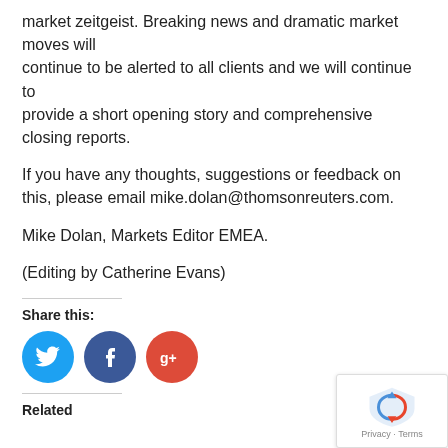market zeitgeist. Breaking news and dramatic market moves will continue to be alerted to all clients and we will continue to provide a short opening story and comprehensive closing reports.
If you have any thoughts, suggestions or feedback on this, please email mike.dolan@thomsonreuters.com.
Mike Dolan, Markets Editor EMEA.
(Editing by Catherine Evans)
Share this:
[Figure (infographic): Three social media share buttons: Twitter (blue circle with bird icon), Facebook (dark blue circle with f icon), Google+ (red circle with g+ text)]
Related